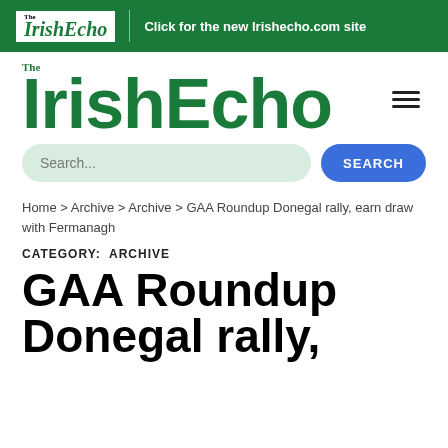The IrishEcho | Click for the new Irishecho.com site
[Figure (logo): The Irish Echo logo in large green bold text with hamburger menu icon]
[Figure (screenshot): Search bar with placeholder text 'Search...' and a blue SEARCH button]
Home > Archive > Archive > GAA Roundup Donegal rally, earn draw with Fermanagh
CATEGORY:  ARCHIVE
GAA Roundup Donegal rally,